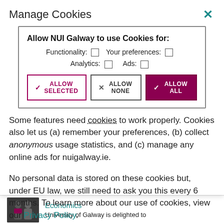Manage Cookies
[Figure (screenshot): Cookie management dialog box with checkboxes for Functionality, Your preferences, Analytics, Ads, and three buttons: Allow Selected, Allow None, Allow All]
Some features need cookies to work properly. Cookies also let us (a) remember your preferences, (b) collect anonymous usage statistics, and (c) manage any online ads for nuigalway.ie.
No personal data is stored on these cookies but, under EU law, we still need to ask you this every 6 months. To learn more about our use of cookies, view our Privacy Policy.
Economics
University of Galway is delighted to